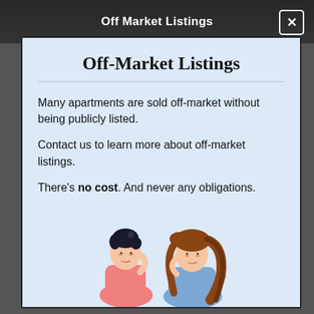Off Market Listings
Off-Market Listings
Many apartments are sold off-market without being publicly listed.
Contact us to learn more about off-market listings.
There's no cost. And never any obligations.
[Figure (illustration): Illustration of two women, one with dark hair and one with brown flowing hair, smiling and conversing]